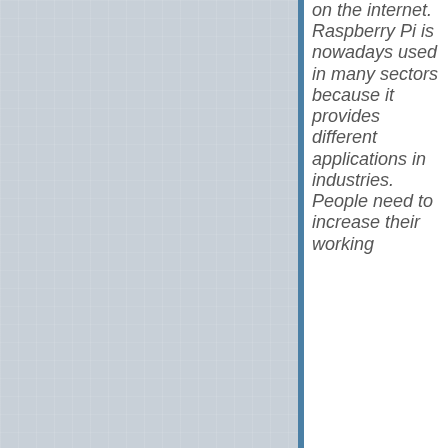[Figure (photo): Light grey linen or fabric texture filling the left portion of the page]
on the internet. Raspberry Pi is nowadays used in many sectors because it provides different applications in industries. People need to increase their working